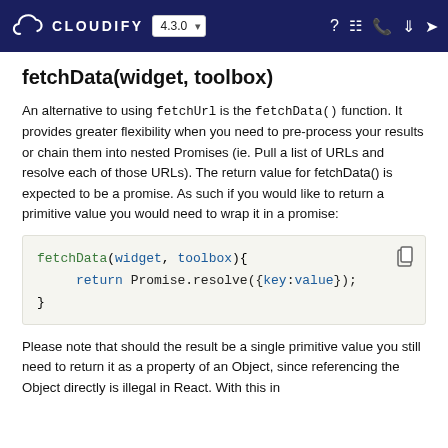CLOUDIFY 4.3.0
fetchData(widget, toolbox)
An alternative to using fetchUrl is the fetchData() function. It provides greater flexibility when you need to pre-process your results or chain them into nested Promises (ie. Pull a list of URLs and resolve each of those URLs). The return value for fetchData() is expected to be a promise. As such if you would like to return a primitive value you would need to wrap it in a promise:
[Figure (screenshot): Code block showing fetchData(widget, toolbox){ return Promise.resolve({key:value}); }]
Please note that should the result be a single primitive value you still need to return it as a property of an Object, since referencing the Object directly is illegal in React. With this in